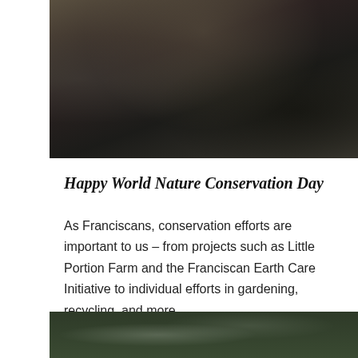[Figure (photo): Photo of people planting or working with soil/earth outdoors, dark clothing, hands in dirt]
Happy World Nature Conservation Day
As Franciscans, conservation efforts are important to us – from projects such as Little Portion Farm and the Franciscan Earth Care Initiative to individual efforts in gardening, recycling, and more….
Continue Reading ›
[Figure (photo): Aerial or landscape photo of dense green forest/tree canopy]